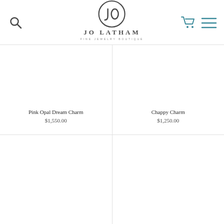[Figure (logo): Jo Latham Fine Jewelry Boutique logo — circular JL monogram above the brand name 'JO LATHAM' and tagline 'FINE JEWELRY BOUTIQUE']
Pink Opal Dream Charm
$1,550.00
Chappy Charm
$1,250.00